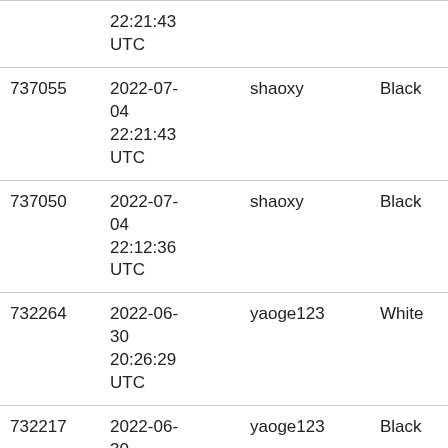| ID | Date | User | Color | Code |
| --- | --- | --- | --- | --- |
|  | 22:21:43 UTC |  |  | d29... |
| 737055 | 2022-07-04 22:21:43 UTC | shaoxy | Black | b60c s614 d290 |
| 737050 | 2022-07-04 22:12:36 UTC | shaoxy | Black | b60c s614 d290 |
| 732264 | 2022-06-30 20:26:29 UTC | yaoge123 | White | b60c s619 d291 |
| 732217 | 2022-06-30 19:30:49... | yaoge123 | Black | b60c s619 d29... |